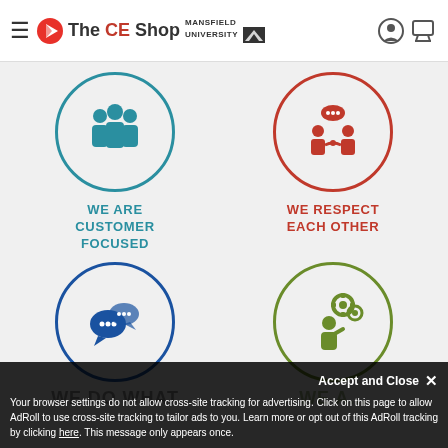The CE Shop MANSFIELD UNIVERSITY
[Figure (illustration): Teal circle with three people/group icon]
WE ARE CUSTOMER FOCUSED
[Figure (illustration): Red circle with two people shaking hands and speech bubble icon]
WE RESPECT EACH OTHER
[Figure (illustration): Blue circle with speech bubbles/chat icon]
WE DO WHAT
[Figure (illustration): Green circle with person and gears icon]
WE A... WE... IMPROVE
Accept and Close ✕
Your browser settings do not allow cross-site tracking for advertising. Click on this page to allow AdRoll to use cross-site tracking to tailor ads to you. Learn more or opt out of this AdRoll tracking by clicking here. This message only appears once.